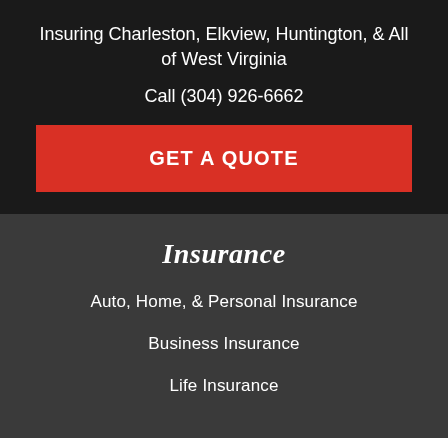Insuring Charleston, Elkview, Huntington, & All of West Virginia
Call (304) 926-6662
GET A QUOTE
Insurance
Auto, Home, & Personal Insurance
Business Insurance
Life Insurance